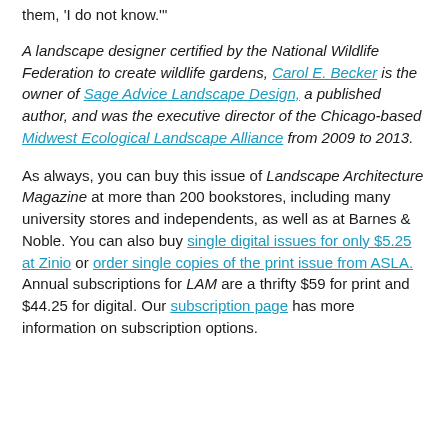them, 'I do not know.'"
A landscape designer certified by the National Wildlife Federation to create wildlife gardens, Carol E. Becker is the owner of Sage Advice Landscape Design, a published author, and was the executive director of the Chicago-based Midwest Ecological Landscape Alliance from 2009 to 2013.
As always, you can buy this issue of Landscape Architecture Magazine at more than 200 bookstores, including many university stores and independents, as well as at Barnes & Noble. You can also buy single digital issues for only $5.25 at Zinio or order single copies of the print issue from ASLA. Annual subscriptions for LAM are a thrifty $59 for print and $44.25 for digital. Our subscription page has more information on subscription options.